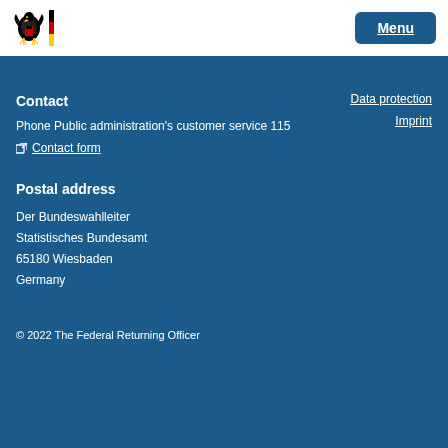Menu
Contact
Data protection
Imprint
Phone Public administration's customer service 115
Contact form
Postal address
Der Bundeswahlleiter
Statistisches Bundesamt
65180 Wiesbaden
Germany
© 2022 The Federal Returning Officer